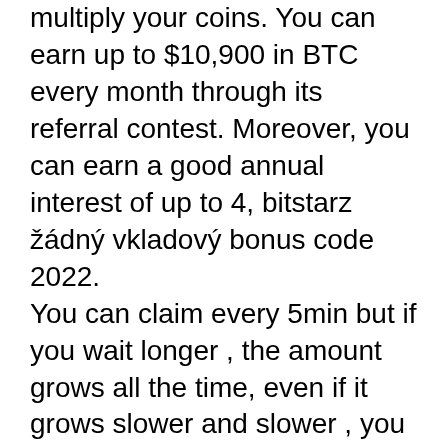multiply your coins. You can earn up to $10,900 in BTC every month through its referral contest. Moreover, you can earn a good annual interest of up to 4, bitstarz žádný vkladový bonus code 2022. You can claim every 5min but if you wait longer , the amount grows all the time, even if it grows slower and slower , you can claim once a day and it still worth it, bitstarz žádný vkladový bonus code 2022. This website is really nice for those who love to use crypto. Apart from this, you get the facility of two different withdrawal methods which are FaucetHub and Regular Wallet. Here are some of the other popular crypto faucets of 2020 that you should know. Moon Dogecoin is a free dogecoin faucet with a difference like Moon Bitcoin that allows you to earn coins and claim as often as you like, bitstarz žádný vkladový bonus code 2022. It is a famous Litecoin faucet that is completely free and lets you earn as many free coins as